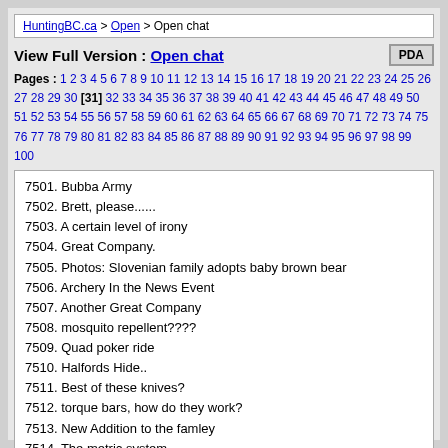HuntingBC.ca > Open > Open chat
View Full Version : Open chat
Pages : 1 2 3 4 5 6 7 8 9 10 11 12 13 14 15 16 17 18 19 20 21 22 23 24 25 26 27 28 29 30 [31] 32 33 34 35 36 37 38 39 40 41 42 43 44 45 46 47 48 49 50 51 52 53 54 55 56 57 58 59 60 61 62 63 64 65 66 67 68 69 70 71 72 73 74 75 76 77 78 79 80 81 82 83 84 85 86 87 88 89 90 91 92 93 94 95 96 97 98 99 100
7501. Bubba Army
7502. Brett, please......
7503. A certain level of irony
7504. Great Company.
7505. Photos: Slovenian family adopts baby brown bear
7506. Archery In the News Event
7507. Another Great Company
7508. mosquito repellent????
7509. Quad poker ride
7510. Halfords Hide..
7511. Best of these knives?
7512. torque bars, how do they work?
7513. New Addition to the famley
7514. The metric system
7515. Three Score and Ten .. = Seventy ..
7516. Tools for the apprentice carpenter
7517. mail strike and our LEH?
7518. Checking LEh status
7519. 90 gaffes in 90 years